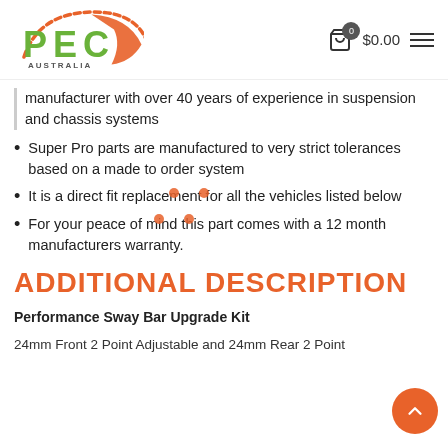[Figure (logo): PEC Australia logo — green and orange stylized letters with dashed arc]
0  $0.00  ☰
manufacturer with over 40 years of experience in suspension and chassis systems
Super Pro parts are manufactured to very strict tolerances based on a made to order system
It is a direct fit replacement for all the vehicles listed below
For your peace of mind this part comes with a 12 month manufacturers warranty.
ADDITIONAL DESCRIPTION
Performance Sway Bar Upgrade Kit
24mm Front 2 Point Adjustable and 24mm Rear 2 Point